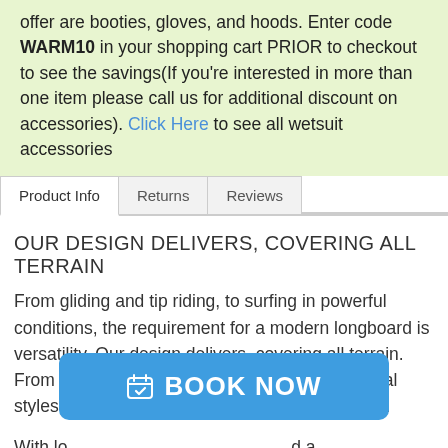offer are booties, gloves, and hoods. Enter code WARM10 in your shopping cart PRIOR to checkout to see the savings(If you're interested in more than one item please call us for additional discount on accessories). Click Here to see all wetsuit accessories
| Product Info | Returns | Reviews |
| --- | --- | --- |
OUR DESIGN DELIVERS, COVERING ALL TERRAIN
From gliding and tip riding, to surfing in powerful conditions, the requirement for a modern longboard is versatility. Our design delivers, covering all terrain. From young to old, new school through traditional styles, first wave rides to decades of experience.
With lo... d a board ... dden from the front. Progressive surfers will find a quick ...